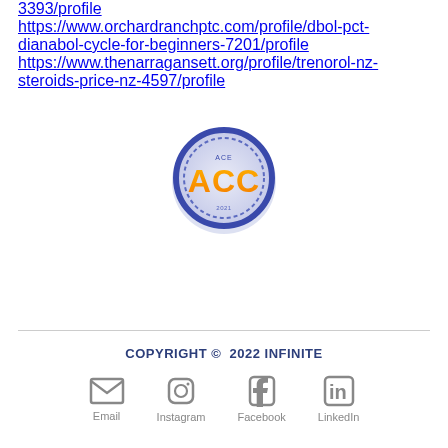3393/profile
https://www.orchardranchptc.com/profile/dbol-pct-dianabol-cycle-for-beginners-7201/profile
https://www.thenarragansett.org/profile/trenorol-nz-steroids-price-nz-4597/profile
[Figure (logo): ACC circular logo with blue border and orange ACC text]
COPYRIGHT © 2022 INFINITE
[Figure (infographic): Social media icons: Email, Instagram, Facebook, LinkedIn]